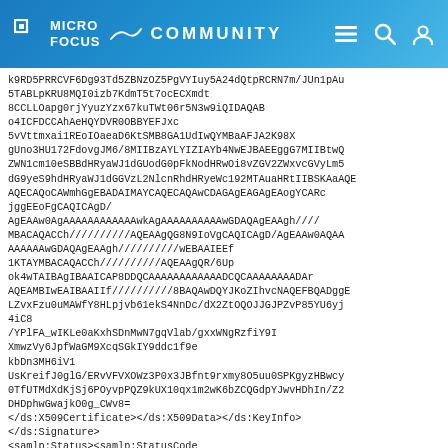MICRO FOCUS COMMUNITY
k9RD5PRRCVF6Dg93Td5ZBNzOZ5PgVYIuy5A24dQtpRCRN7m/JUn1pAu
5TABLpKRU8MQI0izb7KdmT5t7ocECXmdt
8CCLLOapg0rjYyuzYzx67kuTWt06r5N3w9iQIDAQAB
o4ICFDCCAhAeHQYDVR0OBBYEFJxc
5vVttmxai1REoIOaeaD6KtSMB8GA1UdIwQYMBaAFJA2K98X
gUno3HU172FdovgJM6/8MIIBzAYLYIZIAYb4NwEJBAEEggG7MIIBtwQ
ZWN1cm10eSBBdHRyaWJ1dGUodG0pFkNodHRwOi8vZGV2ZWxvcGVyLm5
dG9yeS9hdHRyaWJ1dGGVzL2NlcnRhdHRyeWc192MTAuaHRtIIBSKAaAQE
AQECAQoCAWmhGgEBADAIMAYCAQECAQAwCDAGAgEAGAgEAogYCARc
jggEEoFgCAQICAgD/
AgEAAw0AgAAAAAAAAAAAAwkAgAAAAAAAAAAwGDAQAgEAAgh////
MBACAQACCH//////////AQEAAgQG8N9IoVgCAQICAgD/AgEAAw0AQAA
AAAAAAwGDAQAgEAAgh//////////wEBAAIEEf
1KTAYMBACAQACCh//////////AQEAAgQR/6Up
ok4wTAIBAgIBAAICAP8DDQCAAAAAAAAAAAADCQCAAAAAAAADAr
AQEAMBIwEAIBAAIIf//////////8BAQAwDQYJKoZIhvcNAQEFBQADggE
LZvxFzu0uMAWfY8HLpjvb61ekS4NnDc/dX2ZtOQOJJGJPZvP85YU6yj
4iC8
/YPlFA_wIKLe0aKxhSDnMwN7gqVlab/gxxWNgRzfiY9I
XmwzVy6JpfWaGM9XcqSGkIY9ddc1f9e
kbDn3MH6iV1
UsKreifJ0glG/ERvVFVXOWz3P0x3JBfnt9rxmy8O5uu0SPKgyzHBwcy
0TfUTMdXdKjSj6POyvpPQZ9kUX10qx1m2wK6bZCQGdpYJwvHDhIn/Z2
DHDphwGwajkO0g_CWv8=
</ds:X509Certificate></ds:X509Data></ds:KeyInfo>
</ds:Signature>
<samlp:Status><samlp:StatusCode
Value="samlp:Success"/></samlp:Status>
<saml:Assertion AssertionID="id8WpvY1BeYhg5FY7GnY-
aHWeWA3Y" IssueInstant="2011-08-22T16:27:06Z"
Issuer="https://ids.integrysgroup.com/nidp/saml/metadat
MajorVersion="1" MinorVersion="1"><saml:Conditions
NotBefore="2011-08-22T14:27:06Z" NotOnOrAfter="2011-
08-22T18:27:06Z"/><saml:AuthenticationStatement
AuthenticationInstant="2011-08-22T16:27:06Z"
AuthenticationMethod="urn:oasis:names:tc:SAML:1.0:am:un
<saml:Subject><saml:NameIdentifier